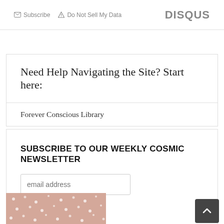Subscribe   Do Not Sell My Data   DISQUS
Need Help Navigating the Site? Start here:
Forever Conscious Library
SUBSCRIBE TO OUR WEEKLY COSMIC NEWSLETTER
email address
Subscribe
[Figure (photo): Pink/mauve patterned image with white dots at bottom of page]